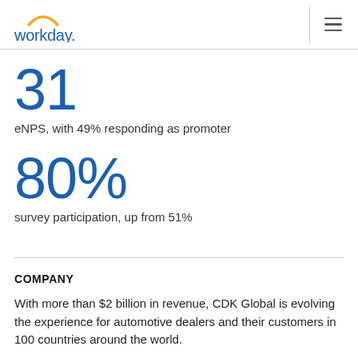workday.
31
eNPS, with 49% responding as promoter
80%
survey participation, up from 51%
COMPANY
With more than $2 billion in revenue, CDK Global is evolving the experience for automotive dealers and their customers in 100 countries around the world.